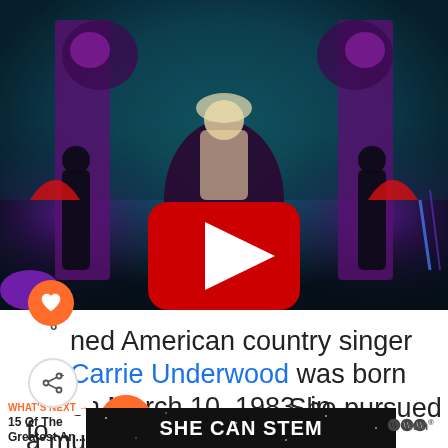[Figure (screenshot): YouTube video thumbnail showing a theatrical performance on stage with a woman sitting on a swing decorated with flowers and purple draping, surrounded by performers. A large red YouTube play button overlay is visible in the center. The stage has teal/blue atmospheric lighting.]
ned American country singer Carrie Underwood was born on March 10, 1983, in . She pursued a musical career from a young age. However, it was the
[Figure (screenshot): SHE CAN STEM advertisement banner with white bold text on dark starry background, with a wordmark logo on the right side.]